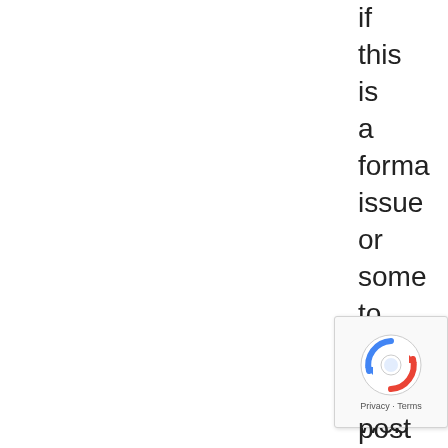if this is a forma issue or some to do with web brow comp but I post
[Figure (other): reCAPTCHA badge with Google logo and Privacy - Terms text]